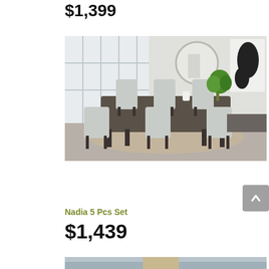$1,399
[Figure (photo): A dining room set featuring a rectangular dark wood table with six light gray upholstered chairs, set on a patterned rug in a bright room with large windows, a round mirror on the wall, a green plant, and abstract black and white art.]
Nadia 5 Pcs Set
$1,439
[Figure (photo): Partial view of another dining room set, visible at the bottom of the page.]